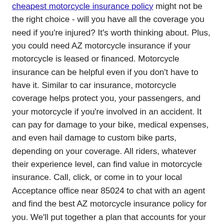cheapest motorcycle insurance policy might not be the right choice - will you have all the coverage you need if you're injured? It's worth thinking about. Plus, you could need AZ motorcycle insurance if your motorcycle is leased or financed. Motorcycle insurance can be helpful even if you don't have to have it. Similar to car insurance, motorcycle coverage helps protect you, your passengers, and your motorcycle if you're involved in an accident. It can pay for damage to your bike, medical expenses, and even hail damage to custom bike parts, depending on your coverage. All riders, whatever their experience level, can find value in motorcycle insurance. Call, click, or come in to your local Acceptance office near 85024 to chat with an agent and find the best AZ motorcycle insurance policy for you. We'll put together a plan that accounts for your state motorcycle requirements, personal needs, and financial situation. With Acceptance by your side, you don't have to think twice when you hop on your bike for an adventure!
Roadside Assistance for 85024-Area Roads & Beyond
Are you commuting or getting out of Phoenix for a while? No matter where you are on the road, getting locked out, needing a